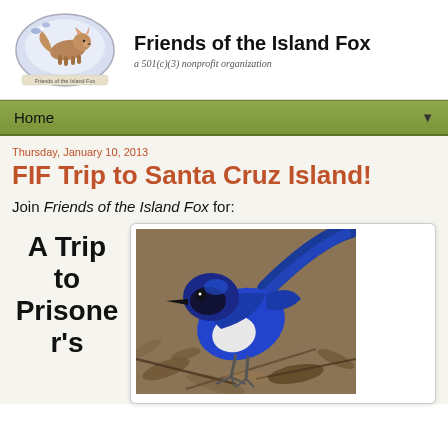[Figure (logo): Friends of the Island Fox organization logo: oval shape with a fox standing and small bird/fox silhouettes, with text 'Friends of the Island Fox' around the bottom of the oval]
Friends of the Island Fox
a 501(c)(3) nonprofit organization
Home ▼
Thursday, January 10, 2013
FIF Trip to Santa Cruz Island!
Join Friends of the Island Fox for:
A Trip to Prisoner's
[Figure (photo): Close-up photograph of a blue Scrub Jay bird with vivid blue plumage, white belly, perched among leaf litter and twigs]